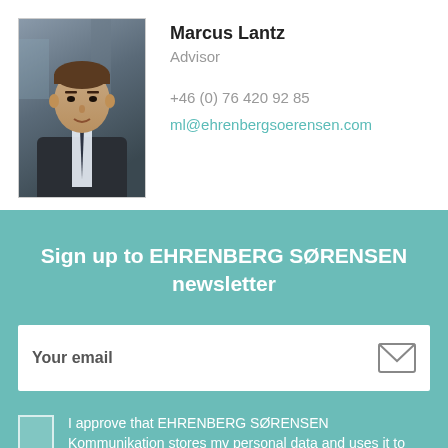[Figure (photo): Professional headshot of Marcus Lantz, a man in a dark suit and tie, photographed against a blurred architectural background.]
Marcus Lantz
Advisor

+46 (0) 76 420 92 85
ml@ehrenbergsoerensen.com
Sign up to EHRENBERG SØRENSEN newsletter
Your email
I approve that EHRENBERG SØRENSEN Kommunikation stores my personal data and uses it to